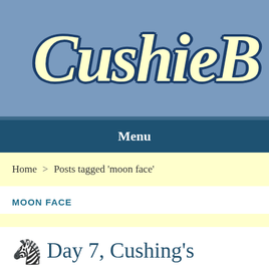[Figure (logo): CushieB website logo banner — blue background with large italic cream-colored text 'CushieB' with dark blue outline, partially cropped on the right]
Menu
Home > Posts tagged 'moon face'
MOON FACE
🦓 Day 7, Cushing's